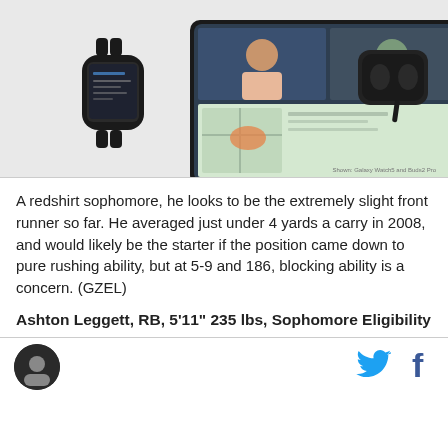[Figure (photo): Advertisement banner showing Samsung Galaxy devices including a smartwatch, foldable phone with video call, and earbuds. A 'LEARN MORE' button appears in the top left. Caption text at bottom right reads 'Shown: Galaxy Watch5 and Buds2 Pro']
A redshirt sophomore, he looks to be the extremely slight front runner so far. He averaged just under 4 yards a carry in 2008, and would likely be the starter if the position came down to pure rushing ability, but at 5-9 and 186, blocking ability is a concern. (GZEL)
Ashton Leggett, RB, 5'11" 235 lbs, Sophomore Eligibility
[Figure (logo): Circular site logo on dark background in footer]
[Figure (logo): Twitter bird icon in footer]
[Figure (logo): Facebook f icon in footer]